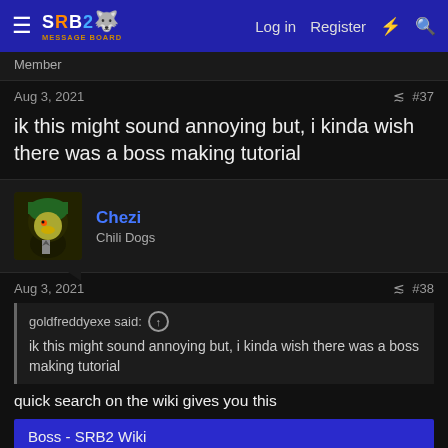SRB2 Message Board — Log in  Register
Member
Aug 3, 2021  #37
ik this might sound annoying but, i kinda wish there was a boss making tutorial
Chezi
Chili Dogs
Aug 3, 2021  #38
goldfreddyexe said: ↑
ik this might sound annoying but, i kinda wish there was a boss making tutorial
quick search on the wiki gives you this
Boss - SRB2 Wiki